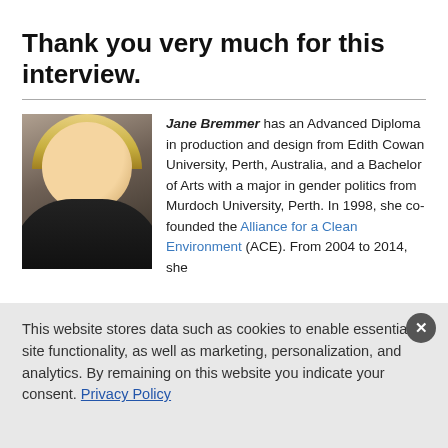Thank you very much for this interview.
[Figure (photo): Headshot photo of Jane Bremmer, a blonde woman smiling, wearing a dark jacket and patterned scarf.]
Jane Bremmer has an Advanced Diploma in production and design from Edith Cowan University, Perth, Australia, and a Bachelor of Arts with a major in gender politics from Murdoch University, Perth. In 1998, she co-founded the Alliance for a Clean Environment (ACE). From 2004 to 2014, she
This website stores data such as cookies to enable essential site functionality, as well as marketing, personalization, and analytics. By remaining on this website you indicate your consent. Privacy Policy